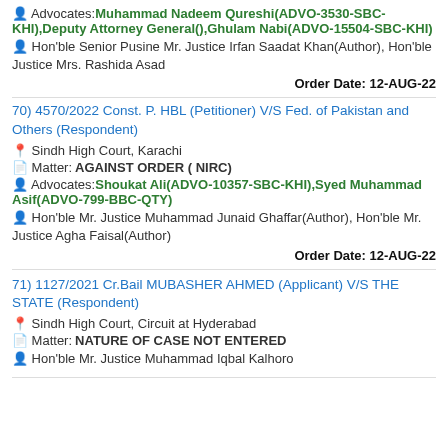Advocates: Muhammad Nadeem Qureshi(ADVO-3530-SBC-KHI),Deputy Attorney General(),Ghulam Nabi(ADVO-15504-SBC-KHI)
Hon'ble Senior Pusine Mr. Justice Irfan Saadat Khan(Author), Hon'ble Justice Mrs. Rashida Asad
Order Date: 12-AUG-22
70) 4570/2022 Const. P. HBL (Petitioner) V/S Fed. of Pakistan and Others (Respondent)
Sindh High Court, Karachi
Matter: AGAINST ORDER ( NIRC)
Advocates: Shoukat Ali(ADVO-10357-SBC-KHI),Syed Muhammad Asif(ADVO-799-BBC-QTY)
Hon'ble Mr. Justice Muhammad Junaid Ghaffar(Author), Hon'ble Mr. Justice Agha Faisal(Author)
Order Date: 12-AUG-22
71) 1127/2021 Cr.Bail MUBASHER AHMED (Applicant) V/S THE STATE (Respondent)
Sindh High Court, Circuit at Hyderabad
Matter: NATURE OF CASE NOT ENTERED
Hon'ble Mr. Justice Muhammad Iqbal Kalhoro